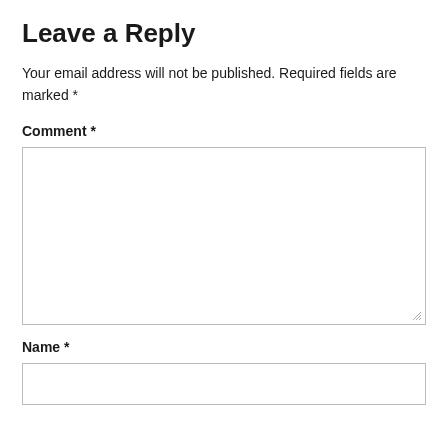Leave a Reply
Your email address will not be published. Required fields are marked *
Comment *
[Figure (other): Large empty textarea for comment input with resize handle at bottom right]
Name *
[Figure (other): Single-line text input box for name entry]